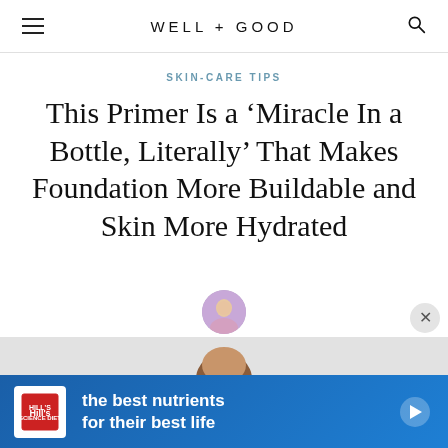WELL+GOOD
SKIN-CARE TIPS
This Primer Is a ‘Miracle In a Bottle, Literally’ That Makes Foundation More Buildable and Skin More Hydrated
[Figure (photo): Circular author avatar photo of Taylor Bell]
Taylor Bell
December 19, 2021
[Figure (photo): Bottom portion of page showing person's head and an advertisement banner for Hill's pet food reading 'the best nutrients for their best life']